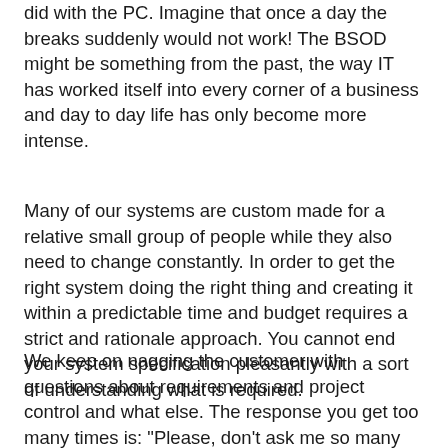did with the PC. Imagine that once a day the breaks suddenly would not work! The BSOD might be something from the past, the way IT has worked itself into every corner of a business and day to day life has only become more intense.
Many of our systems are custom made for a relative small group of people while they also need to change constantly. In order to get the right system doing the right thing and creating it within a predictable time and budget requires a strict and rationale approach. You cannot end your system specification pleasantly with a sort of understanding what is required.
We keep on nagging the customer with questions about requirements and project control and what else. The response you get too many times is: "Please, don't ask me so many questions. Just give me the solution!". While we then think(!), sometimes say: "Why don't you understand this? I have explained it now so many times. Isn't it logical?" All this contributes to the view of IT people being the goofs and geeks.